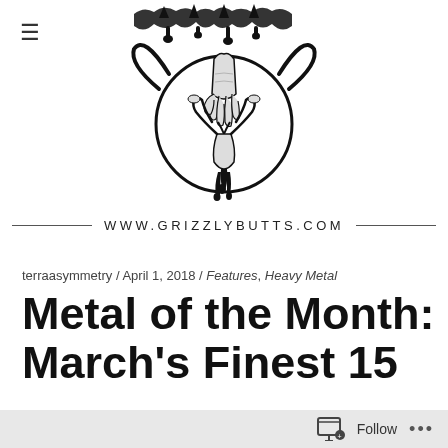[Figure (logo): Grizzly Butts website logo — black ink illustration of an inverted figure inside a circular frame with decorative thorned/dripping lettering at top]
WWW.GRIZZLYBUTTS.COM
terraasymmetry / April 1, 2018 / Features, Heavy Metal
Metal of the Month: March's Finest 15
Releases (2018)